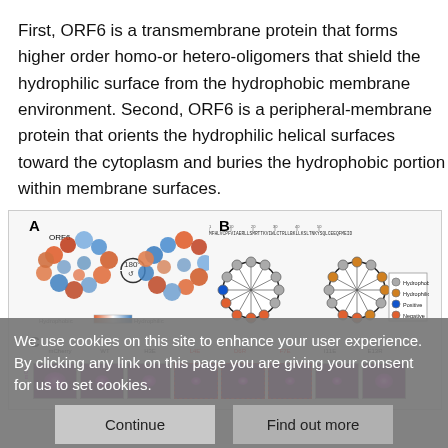First, ORF6 is a transmembrane protein that forms higher order homo-or hetero-oligomers that shield the hydrophilic surface from the hydrophobic membrane environment. Second, ORF6 is a peripheral-membrane protein that orients the hydrophilic helical surfaces toward the cytoplasm and buries the hydrophobic portion within membrane surfaces.
[Figure (illustration): Panel A: 3D molecular surface model of ORF6 oligomer shown with 180° rotation arrow, colored by hydrophobic (orange/red) to hydrophilic (blue) scale. Panel B: Helical wheel diagrams of ORF6 sequence showing amino acid positions colored by property (hydrophobic=gray, hydrophilic=orange/gold, positive=blue, negative=red). Panel C: Fluorescence microscopy images of mCherry-tagged ORF6 variants: mCherry, WT, H3E, L4E, D6R, F7E, I11E, E13R showing subcellular localization patterns, with L4E, D6R, F7E highlighted with red dashed borders.]
We use cookies on this site to enhance your user experience. By clicking any link on this page you are giving your consent for us to set cookies.